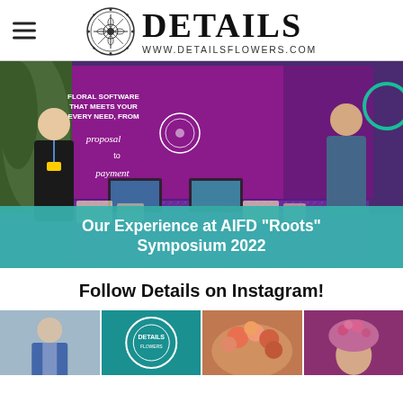DETAILS — www.detailsflowers.com
[Figure (photo): Trade show booth for Details Flowers software at AIFD 'Roots' Symposium 2022. Purple banner with text 'Floral Software That Meets Your Every Need, From Proposal to Payment'. Two women standing at the booth with laptops and promotional materials on a glittery purple table.]
Our Experience at AIFD "Roots" Symposium 2022
Follow Details on Instagram!
[Figure (photo): Four Instagram preview thumbnails: man in blue suit, teal Details Flowers logo, floral arrangement, woman with floral headpiece.]